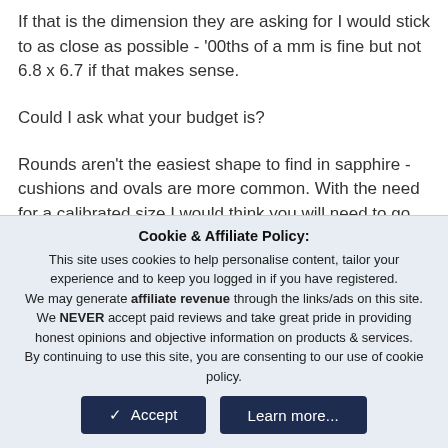If that is the dimension they are asking for I would stick to as close as possible - '00ths of a mm is fine but not 6.8 x 6.7 if that makes sense.
Could I ask what your budget is?
Rounds aren't the easiest shape to find in sapphire - cushions and ovals are more common. With the need for a calibrated size I would think you will need to go with a precision cut stone
Cookie & Affiliate Policy:
This site uses cookies to help personalise content, tailor your experience and to keep you logged in if you have registered.
We may generate affiliate revenue through the links/ads on this site.
We NEVER accept paid reviews and take great pride in providing honest opinions and objective information on products & services.
By continuing to use this site, you are consenting to our use of cookie policy.